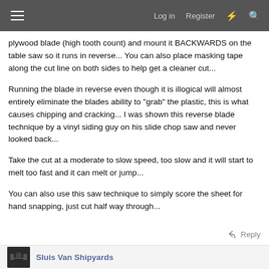Log in   Register
plywood blade (high tooth count) and mount it BACKWARDS on the table saw so it runs in reverse... You can also place masking tape along the cut line on both sides to help get a cleaner cut...
Running the blade in reverse even though it is illogical will almost entirely eliminate the blades ability to "grab" the plastic, this is what causes chipping and cracking... I was shown this reverse blade technique by a vinyl siding guy on his slide chop saw and never looked back...
Take the cut at a moderate to slow speed, too slow and it will start to melt too fast and it can melt or jump...
You can also use this saw technique to simply score the sheet for hand snapping, just cut half way through...
↩ Reply
Sluis Van Shipyards